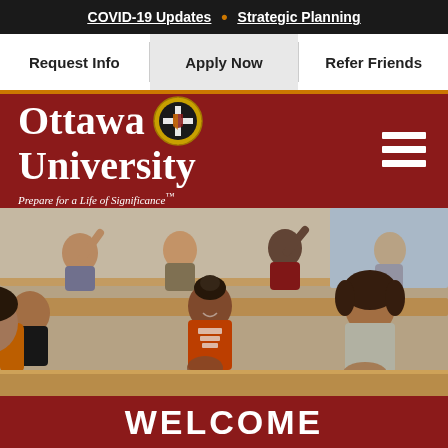COVID-19 Updates • Strategic Planning
Request Info
Apply Now
Refer Friends
Ottawa University — Prepare for a Life of Significance™
[Figure (photo): Students sitting in a classroom setting, smiling and laughing, some raising hands. Three prominent students in foreground: a young man on left with orange backpack, a young woman in the center wearing an orange t-shirt, and a young woman on the right in a gray sweatshirt.]
WELCOME